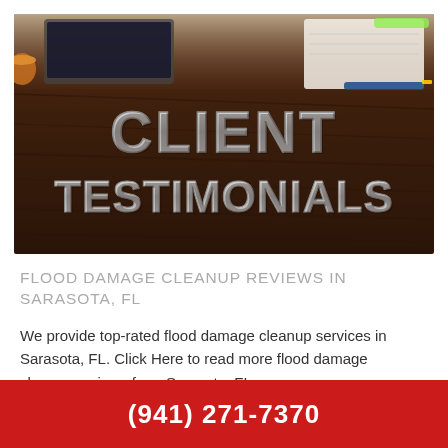[Figure (photo): Hero banner photo of a wooden desk with a laptop, notepad and pen in the background. Large bold 3D text reads CLIENT TESTIMONIALS in metallic silver lettering on the wooden surface.]
FLOOD DAMAGE CLEANUP REVIEWS IN SARASOTA, FL
We provide top-rated flood damage cleanup services in Sarasota, FL. Click Here to read more flood damage cleanup reviews from Sarasota, FL.
(941) 271-7370